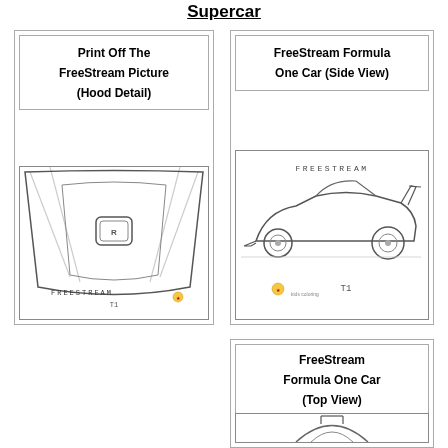Supercar
Print Off The FreeStream Picture (Hood Detail)
[Figure (illustration): Line drawing of a car hood detail view labeled FREESTREAM T1 with a small character logo]
FreeStream Formula One Car (Side View)
[Figure (illustration): Line drawing of FreeStream Formula One car side view labeled FREESTREAM T1 with small character logo]
FreeStream Formula One Car (Top View)
[Figure (illustration): Line drawing of FreeStream Formula One car top view, partially visible]